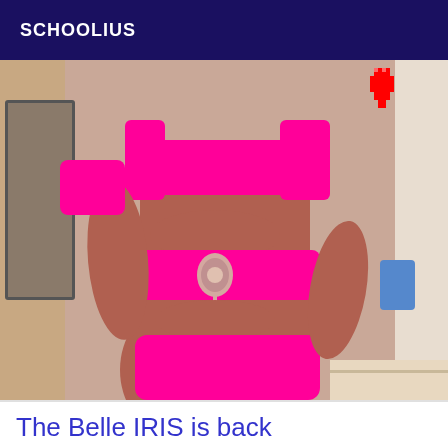SCHOOLIUS
[Figure (photo): A person wearing a magenta/hot pink cutout swimsuit or bodycon outfit, photographed from the torso down, with a decorative brooch at the waist. A pixelated red heart emoji is overlaid in the top right corner. Background shows a bathroom/bedroom setting.]
The Belle IRIS is back